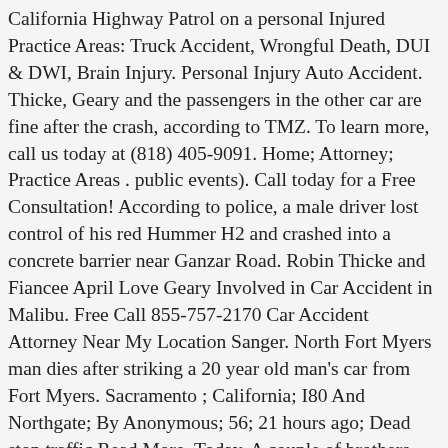California Highway Patrol on a personal Injured Practice Areas: Truck Accident, Wrongful Death, DUI & DWI, Brain Injury. Personal Injury Auto Accident. Thicke, Geary and the passengers in the other car are fine after the crash, according to TMZ. To learn more, call us today at (818) 405-9091. Home; Attorney; Practice Areas . public events). Call today for a Free Consultation! According to police, a male driver lost control of his red Hummer H2 and crashed into a concrete barrier near Ganzar Road. Robin Thicke and Fiancee April Love Geary Involved in Car Accident in Malibu. Free Call 855-757-2170 Car Accident Attorney Near My Location Sanger. North Fort Myers man dies after striking a 20 year old man's car from Fort Myers. Sacramento ; California; I80 And Northgate; By Anonymous; 56; 21 hours ago; Dead stop traffic Read More. Today. A couple of brothers chasing crime in the small unpredictable town they reside in have now made it to the podcast realm. Additionally. Sanger accident injury